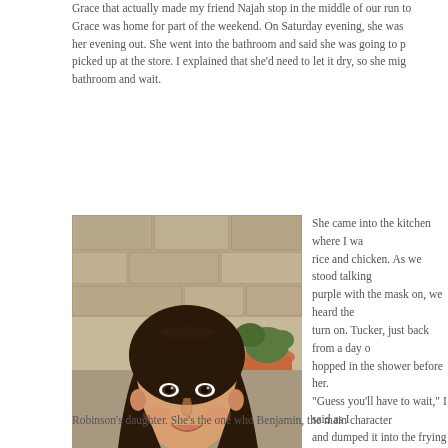Grace that actually made my friend Najah stop in the middle of our run to... Grace was home for part of the weekend. On Saturday evening, she was... her evening out. She went into the bathroom and said she was going to p... picked up at the store. I explained that she'd need to let it dry, so she mig... bathroom and wait.
[Figure (photo): Portrait photo of a young woman with long brown hair, wearing a navy blue top, smiling, standing in front of a stone wall with a terracotta pot visible in the background.]
She came into the kitchen where I wa... rice and chicken. As we stood talking... purple with the mask on, we heard the... turn on. Tucker, just back from a day o... hopped in the shower before her. "Guess you'll have to wait," I said as I... and dumped it into the frying pan with... "Fine," she said. "I guess I'll just go wa... She turned around and walked toward... The television was on with the NCAA... I laughed. "Grace, it isn't football season anymo... "Well, baseball or whatever," she said... I just shook my head. Even growing u... and a sports-crazed mother, Grace ha... seasons. Maybe some day if she has... able to keep it straight. Another story she shared this weeken... the play, The Graduate. Grace is play...
Robinson's daughter. She's the one who Benjamin, the main character...